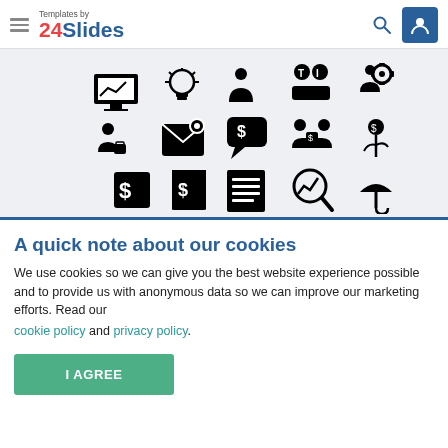Templates by 24Slides
[Figure (illustration): Grid of black business/finance icons including monitor with chart, lightbulb, person, team, gear, business person with briefcase, envelope, speech bubble with dollar, person with dollar sign, plant with dollar coin, dollar sign box, dollar receipt, document, magnifying glass with chart, umbrella]
A quick note about our cookies
We use cookies so we can give you the best website experience possible and to provide us with anonymous data so we can improve our marketing efforts. Read our
cookie policy and privacy policy.
I AGREE